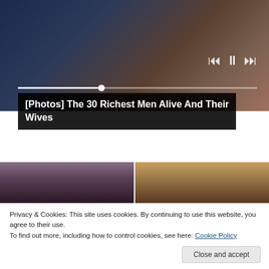[Figure (photo): Two people sitting on a couch, a man in a dark suit and a woman in a light patterned top with long auburn hair. Media player controls visible with a progress bar.]
[Photos] The 30 Richest Men Alive And Their Wives
[Figure (photo): Two side-by-side photos of women with dark hair. Left photo shows a woman with a checkered curtain background. Right photo shows a woman with brown/grey hair against a warm background.]
Privacy & Cookies: This site uses cookies. By continuing to use this website, you agree to their use.
To find out more, including how to control cookies, see here: Cookie Policy
Close and accept